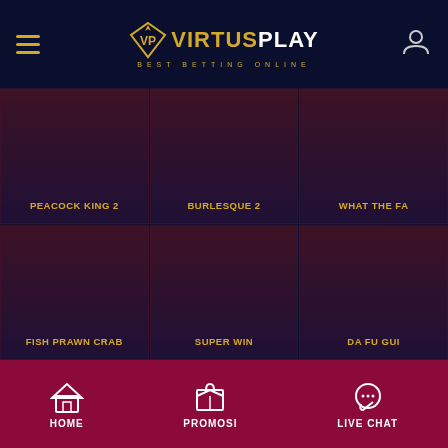VP VirtusPlay - Best Betting Online
[Figure (screenshot): Game card: PEACOCK KING 2]
[Figure (screenshot): Game card: BURLESQUE 2]
[Figure (screenshot): Game card: WHAT THE FA]
[Figure (screenshot): Game card: FISH PRAWN CRAB]
[Figure (screenshot): Game card: SUPER WIN]
[Figure (screenshot): Game card: DA FU GUI]
HOME | PROMOSI | LIVE CHAT